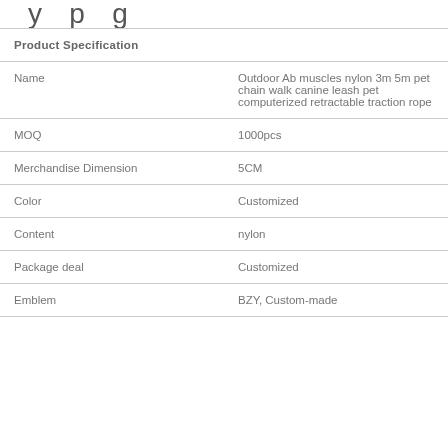y p g
|  |  |
| --- | --- |
| Product Specification |  |
| Name | Outdoor Ab muscles nylon 3m 5m pet chain walk canine leash pet computerized retractable traction rope |
| MOQ | 1000pcs |
| Merchandise Dimension | 5CM |
| Color | Customized |
| Content | nylon |
| Package deal | Customized |
| Emblem | BZY, Custom-made |